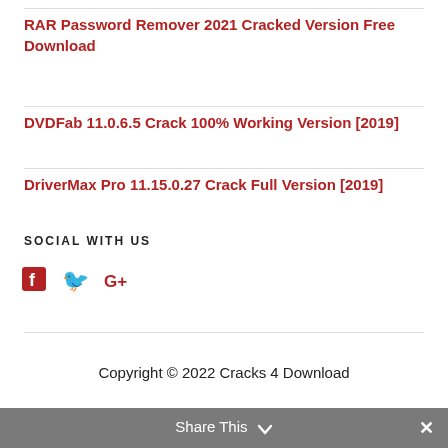RAR Password Remover 2021 Cracked Version Free Download
DVDFab 11.0.6.5 Crack 100% Working Version [2019]
DriverMax Pro 11.15.0.27 Crack Full Version [2019]
SOCIAL WITH US
[Figure (other): Social media icons: Facebook, Twitter, Google+]
Copyright © 2022 Cracks 4 Download
Share This ∨  ✕